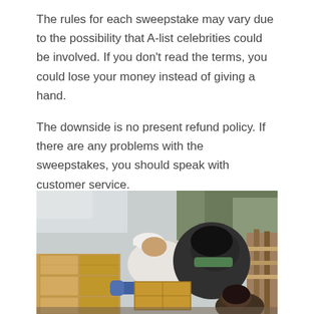The rules for each sweepstake may vary due to the possibility that A-list celebrities could be involved. If you don't read the terms, you could lose your money instead of giving a hand.
The downside is no present refund policy. If there are any problems with the sweepstakes, you should speak with customer service.
It is simple to take part in each campaign and there are no formalities. Omaze makes it easy to give back to charity.
[Figure (photo): People wearing masks handling cardboard boxes, appearing to do charity or volunteer work involving food distribution outdoors near wooden fencing.]